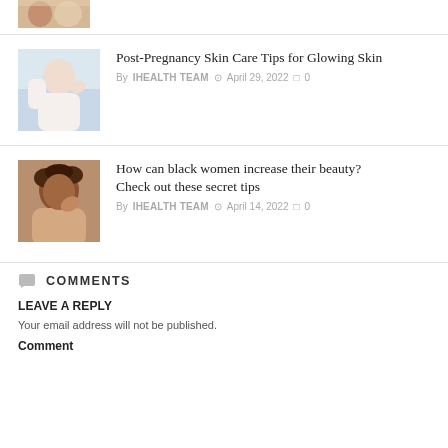[Figure (photo): Partial thumbnail of a person at top of page (cropped)]
Post-Pregnancy Skin Care Tips for Glowing Skin
By IHEALTH TEAM  April 29, 2022  0
[Figure (photo): Woman applying face cream in a bathroom mirror]
How can black women increase their beauty? Check out these secret tips
By IHEALTH TEAM  April 14, 2022  0
COMMENTS
LEAVE A REPLY
Your email address will not be published.
Comment